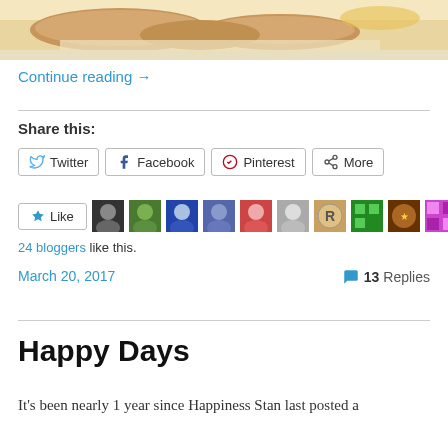[Figure (photo): Close-up photo of food (appears to be baked/fried items with sauce on a white plate), cropped at top of page]
Continue reading →
Share this:
Twitter  Facebook  Pinterest  More
[Figure (infographic): Like button with star icon followed by a row of 11 blogger avatar thumbnails]
24 bloggers like this.
March 20, 2017
💬 13 Replies
Happy Days
It's been nearly 1 year since Happiness Stan last posted a